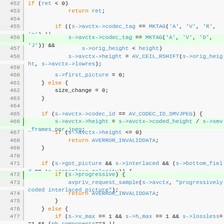[Figure (screenshot): Source code listing (C language) showing lines 452–477, with syntax highlighting: line numbers on left, keywords in orange, identifiers/functions in blue, plain code in dark. Some lines have green left border indicating diff/highlight. Code involves JPEG codec logic including codec_tag checks, height assignments, interlace handling, and error returns.]